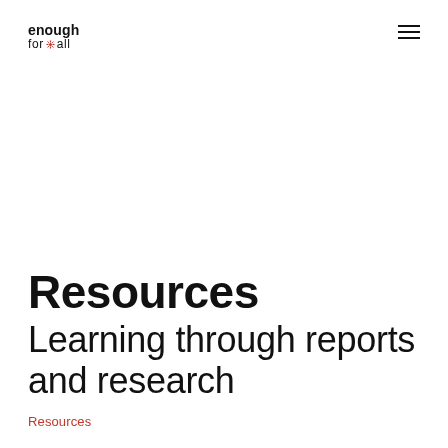enough for all
Resources
Learning through reports and research
Resources